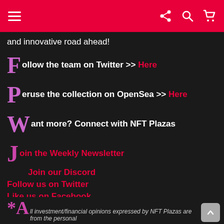Navigation header with hamburger menu, share, search, and cart icons
and innovative road ahead!
Follow the team on Twitter >> Here
Peruse the collection on OpenSea >> Here
Want more? Connect with NFT Plazas
Join the Weekly Newsletter
Join our Discord
Follow us on Twitter
Like us on Facebook
Follow us on Instagram
*All investment/financial opinions expressed by NFT Plazas are from the personal